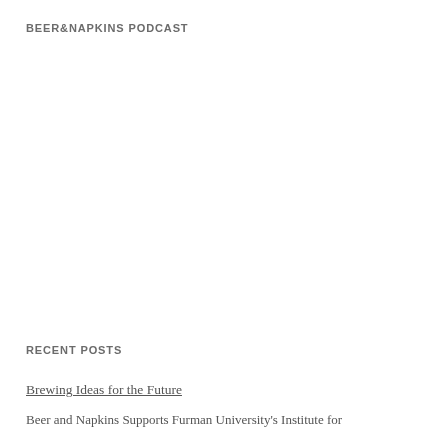BEER&NAPKINS PODCAST
RECENT POSTS
Brewing Ideas for the Future
Beer and Napkins Supports Furman University's Institute for